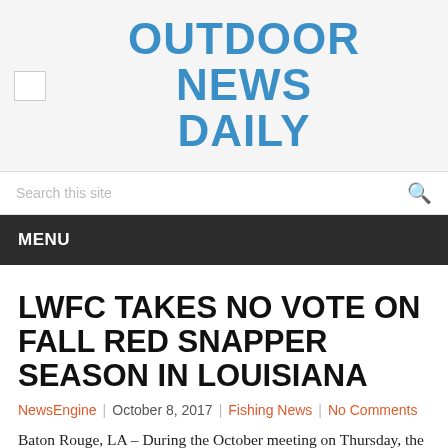OUTDOOR NEWS DAILY
MENU
LWFC TAKES NO VOTE ON FALL RED SNAPPER SEASON IN LOUISIANA
NewsEngine | October 8, 2017 | Fishing News | No Comments
Baton Rouge, LA – During the October meeting on Thursday, the Louisiana Wildlife and Fisheries Commission opted not to vote on a proposal to give anglers additional access to red snapper